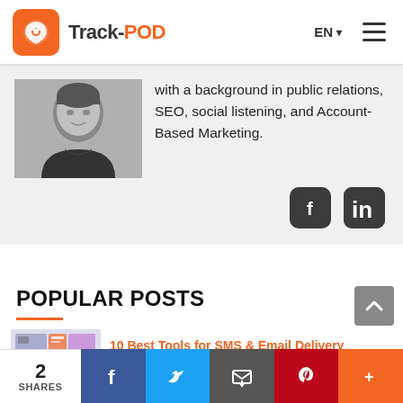Track-POD
with a background in public relations, SEO, social listening, and Account-Based Marketing.
[Figure (photo): Black and white photo of a young person in a hoodie]
[Figure (logo): Facebook and LinkedIn social media icons]
POPULAR POSTS
[Figure (screenshot): Thumbnail image for a blog post about SMS and email delivery notification tools]
10 Best Tools for SMS & Email Delivery Notifications